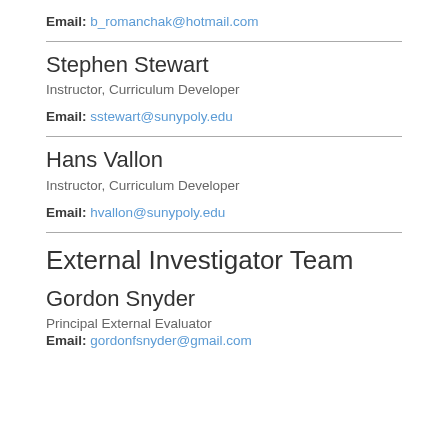Email: b_romanchak@hotmail.com
Stephen Stewart
Instructor, Curriculum Developer
Email: sstewart@sunypoly.edu
Hans Vallon
Instructor, Curriculum Developer
Email: hvallon@sunypoly.edu
External Investigator Team
Gordon Snyder
Principal External Evaluator
Email: gordonfsnyder@gmail.com